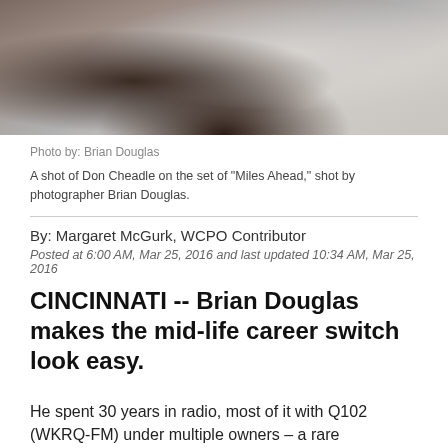[Figure (photo): Two people on a film set, one in a gray shirt and one in a white shirt, shot by photographer Brian Douglas on the set of Miles Ahead.]
Photo by: Brian Douglas
A shot of Don Cheadle on the set of "Miles Ahead," shot by photographer Brian Douglas.
By: Margaret McGurk, WCPO Contributor
Posted at 6:00 AM, Mar 25, 2016 and last updated 10:34 AM, Mar 25, 2016
CINCINNATI -- Brian Douglas makes the mid-life career switch look easy.
He spent 30 years in radio, most of it with Q102 (WKRQ-FM) under multiple owners – a rare